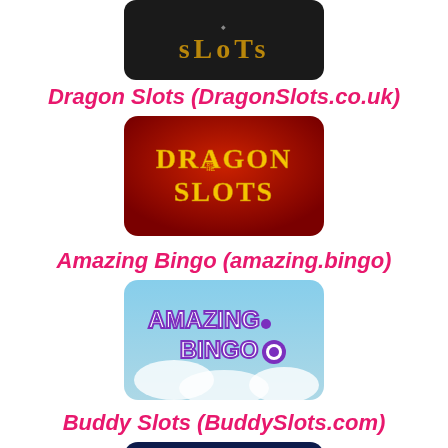[Figure (logo): Dragon Slots logo - dark background with stylized 'slots' text in gold/bronze letters]
Dragon Slots (DragonSlots.co.uk)
[Figure (logo): Dragon Slots logo - red rounded rectangle background with yellow 'DRAGON SLOTS' text]
Amazing Bingo (amazing.bingo)
[Figure (logo): Amazing Bingo logo - sky blue background with purple 'AMAZING BINGO' text and bingo ball]
Buddy Slots (BuddySlots.com)
[Figure (logo): Buddy Slots logo - dark navy background, partially visible]